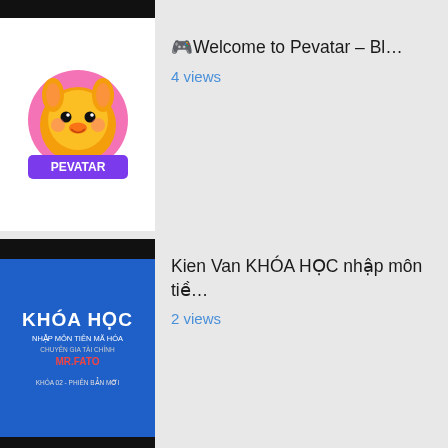[Figure (screenshot): Top black bar (cropped from previous item)]
[Figure (logo): Pevatar mascot logo - cartoon rabbit character with orange body on pink circle, PEVATAR text below on purple band, white background]
🎮Welcome to Pevatar – Bl…
4 views
[Figure (screenshot): Blue background thumbnail with white text KHÓA HỌC, NHẬP MÔN TIÊN MÃ HÓA, CHUYÊN GIA TÀI CHÍNH, MR.FATO in red, KHÓA 02 - PHIÊN BẢN MỚI at bottom]
Kien Van KHÓA HỌC nhập môn tiề…
2 views
[Figure (screenshot): Dark background thumbnail with BINANCE logo, BSC text, PROJECT SPOTLIGHT text, alpaca mascot circle logo, yellow dot grid pattern]
Alpaca Finance (ALPACA) Coin B…
2 views
[Figure (screenshot): Partial thumbnail with yellow/orange background, partially visible]
Как получить на бирже